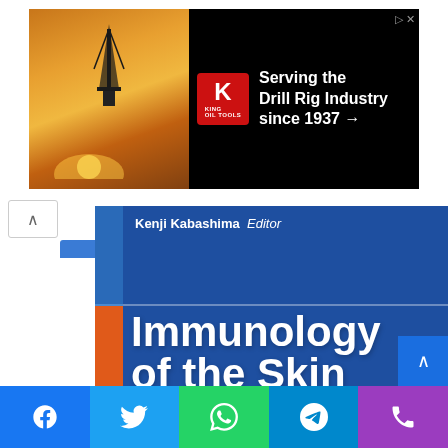[Figure (screenshot): Advertisement banner for King Oil Tools: 'Serving the Drill Rig Industry since 1937 →' with King logo (red K) and oil rig photo background]
[Figure (photo): Book cover of 'Immunology of the Skin: Basic and Clinical Sciences in Skin Immune Responses' edited by Kenji Kabashima. Blue cover with white bold title text and colorful side bar (blue and orange). Bottom social sharing bar with Facebook, Twitter, WhatsApp, Telegram, and phone icons.]